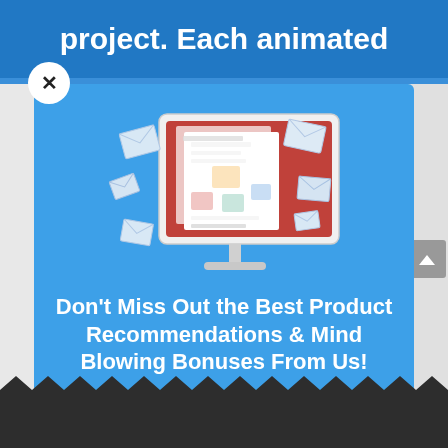project. Each animated
[Figure (illustration): A computer monitor displaying a newsletter/document with colored blocks (orange, red, teal) surrounded by flying envelope icons — email newsletter illustration]
Don't Miss Out the Best Product Recommendations & Mind Blowing Bonuses From Us!
Join our mailing list to receive our product recommendations and industry top notch mind blowing bonuses.